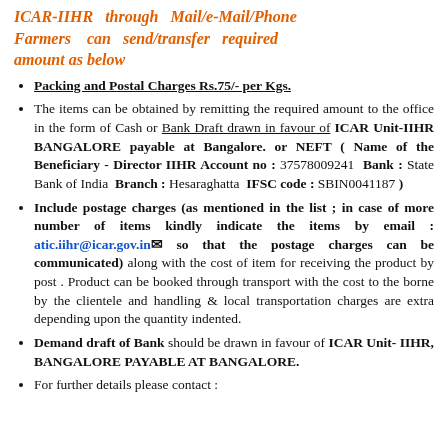ICAR-IIHR through Mail/e-Mail/Phone Farmers can send/transfer required amount as below
Packing and Postal Charges Rs.75/- per Kgs.
The items can be obtained by remitting the required amount to the office in the form of Cash or Bank Draft drawn in favour of ICAR Unit-IIHR BANGALORE payable at Bangalore. or NEFT ( Name of the Beneficiary - Director IIHR Account no : 37578009241 Bank : State Bank of India Branch : Hesaraghatta IFSC code : SBIN0041187 )
Include postage charges (as mentioned in the list ; in case of more number of items kindly indicate the items by email : atic.iihr@icar.gov.in so that the postage charges can be communicated) along with the cost of item for receiving the product by post . Product can be booked through transport with the cost to the borne by the clientele and handling & local transportation charges are extra depending upon the quantity indented.
Demand draft of Bank should be drawn in favour of ICAR Unit- IIHR, BANGALORE PAYABLE AT BANGALORE.
For further details please contact :